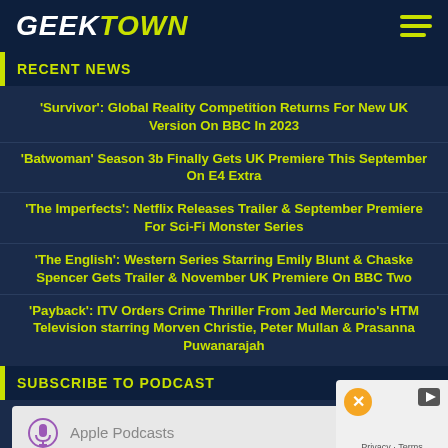[Figure (logo): GEEKTOWN logo with GEEK in white and TOWN in yellow-green, plus hamburger menu icon]
RECENT NEWS
'Survivor': Global Reality Competition Returns For New UK Version On BBC In 2023
'Batwoman' Season 3b Finally Gets UK Premiere This September On E4 Extra
'The Imperfects': Netflix Releases Trailer & September Premiere For Sci-Fi Monster Series
'The English': Western Series Starring Emily Blunt & Chaske Spencer Gets Trailer & November UK Premiere On BBC Two
'Payback': ITV Orders Crime Thriller From Jed Mercurio's HTM Television starring Morven Christie, Peter Mullan & Prasanna Puwanarajah
SUBSCRIBE TO PODCAST
[Figure (screenshot): Apple Podcasts subscription widget with podcast microphone icon and Apple Podcasts text]